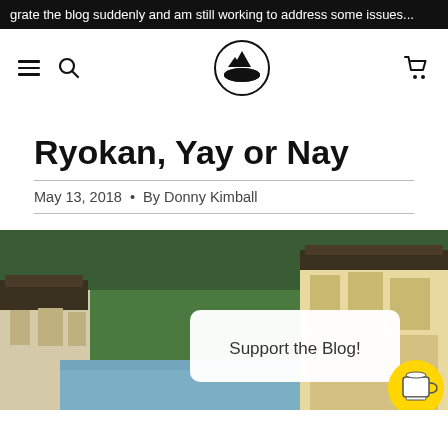grate the blog suddenly and am still working to address some issues...
[Figure (logo): Navigation bar with hamburger menu, search icon, circular mountain landscape logo, and shopping cart icon]
Ryokan, Yay or Nay
May 13, 2018 • By Donny Kimball
[Figure (photo): Japanese ryokan street scene with traditional buildings alongside a river, with lush green forested hills in the background. Overlaid with a white popup box reading 'Support the Blog!' and a yellow circular coffee cup button.]